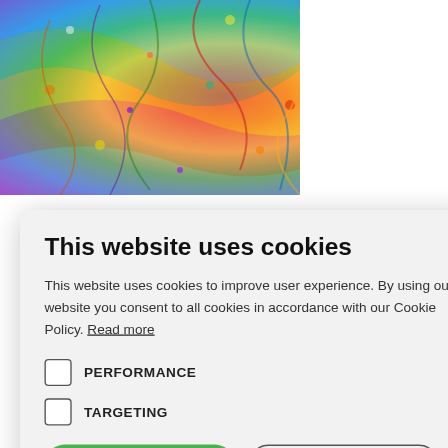[Figure (illustration): Colorful swirling psychedelic painting with vibrant multicolored flowing lines, dots, and patterns resembling a fluid abstract artwork.]
blished the 28/04/2022
ws all
0
ory is a
ed
ws us to
s also
at knows
This website uses cookies
This website uses cookies to improve user experience. By using our website you consent to all cookies in accordance with our Cookie Policy. Read more
PERFORMANCE
TARGETING
ACCEPT ALL
DECLINE ALL
⚙ SHOW DETAILS
POWERED BY COOKIE-SCRIPT